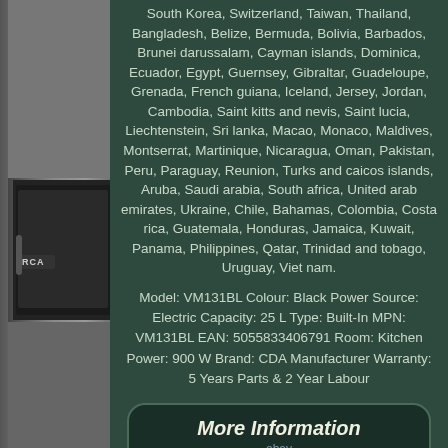[Figure (photo): Left side strip showing a built-in microwave oven (CDA/RCA brand) in a dark kitchen cabinet, with 'RCA' label visible]
South Korea, Switzerland, Taiwan, Thailand, Bangladesh, Belize, Bermuda, Bolivia, Barbados, Brunei darussalam, Cayman islands, Dominica, Ecuador, Egypt, Guernsey, Gibraltar, Guadeloupe, Grenada, French guiana, Iceland, Jersey, Jordan, Cambodia, Saint kitts and nevis, Saint lucia, Liechtenstein, Sri lanka, Macao, Monaco, Maldives, Montserrat, Martinique, Nicaragua, Oman, Pakistan, Peru, Paraguay, Reunion, Turks and caicos islands, Aruba, Saudi arabia, South africa, United arab emirates, Ukraine, Chile, Bahamas, Colombia, Costa rica, Guatemala, Honduras, Jamaica, Kuwait, Panama, Philippines, Qatar, Trinidad and tobago, Uruguay, Viet nam.
Model: VM131BL Colour: Black Power Source: Electric Capacity: 25 L Type: Built-In MPN: VM131BL EAN: 5055833406791 Room: Kitchen Power: 900 W Brand: CDA Manufacturer Warranty: 5 Years Parts & 2 Year Labour
More Information ebay